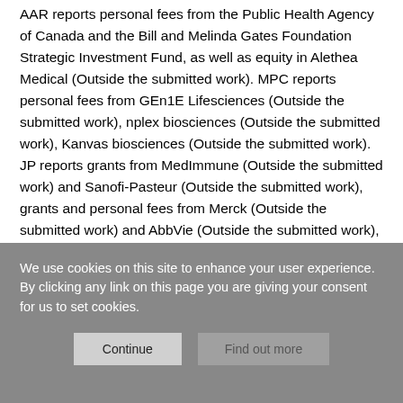AAR reports personal fees from the Public Health Agency of Canada and the Bill and Melinda Gates Foundation Strategic Investment Fund, as well as equity in Alethea Medical (Outside the submitted work). MPC reports personal fees from GEn1E Lifesciences (Outside the submitted work), nplex biosciences (Outside the submitted work), Kanvas biosciences (Outside the submitted work). JP reports grants from MedImmune (Outside the submitted work) and Sanofi-Pasteur (Outside the submitted work), grants and personal fees from Merck (Outside the submitted work) and AbbVie (Outside the submitted work), and personal fees from AstraZeneca (Outside the submitted work). CCo reports funding from Sanofi Pasteur (Outside of the submitted work).
We use cookies on this site to enhance your user experience. By clicking any link on this page you are giving your consent for us to set cookies.